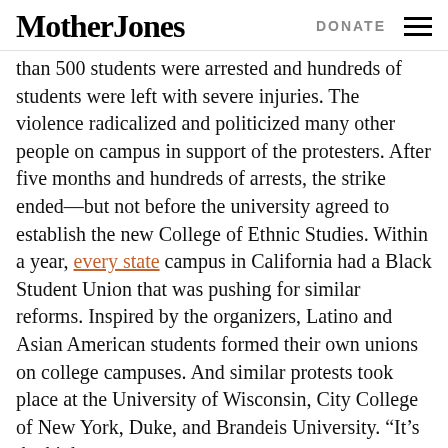Mother Jones | DONATE
than 500 students were arrested and hundreds of students were left with severe injuries. The violence radicalized and politicized many other people on campus in support of the protesters. After five months and hundreds of arrests, the strike ended—but not before the university agreed to establish the new College of Ethnic Studies. Within a year, every state campus in California had a Black Student Union that was pushing for similar reforms. Inspired by the organizers, Latino and Asian American students formed their own unions on college campuses. And similar protests took place at the University of Wisconsin, City College of New York, Duke, and Brandeis University. “It’s the higher